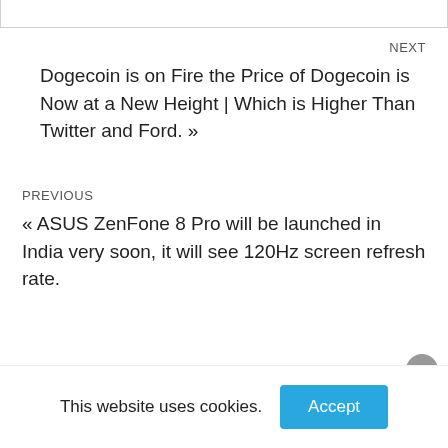NEXT
Dogecoin is on Fire the Price of Dogecoin is Now at a New Height | Which is Higher Than Twitter and Ford. »
PREVIOUS
« ASUS ZenFone 8 Pro will be launched in India very soon, it will see 120Hz screen refresh rate.
This website uses cookies.